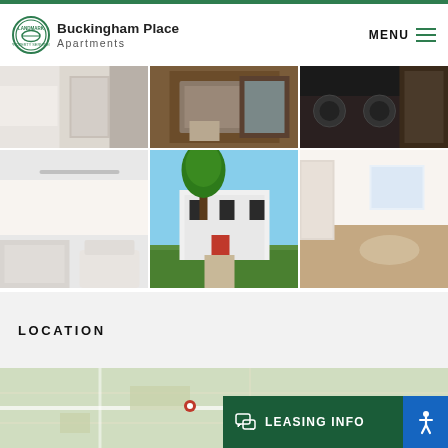Buckingham Place Apartments
[Figure (photo): Grid of apartment interior and exterior photos: bathroom/closet area, kitchen with stainless steel appliances, dark stovetop, white bathroom, exterior of buildings with trees, empty carpeted room]
LOCATION
[Figure (map): Map showing location of Buckingham Place Apartments]
LEASING INFO